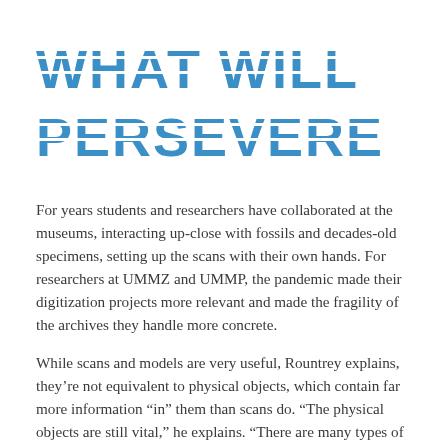WHAT WILL PERSEVERE
For years students and researchers have collaborated at the museums, interacting up-close with fossils and decades-old specimens, setting up the scans with their own hands. For researchers at UMMZ and UMMP, the pandemic made their digitization projects more relevant and made the fragility of the archives they handle more concrete.
While scans and models are very useful, Rountrey explains, they're not equivalent to physical objects, which contain far more information “in” them than scans do. “The physical objects are still vital,” he explains. “There are many types of studies, like those that use DNA or chemical composition, that require